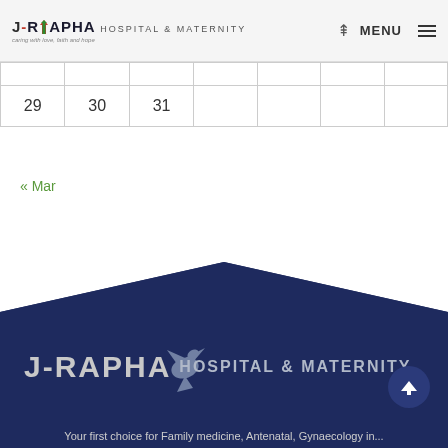J-RAPHA HOSPITAL & MATERNITY — caring with love, faith and hope
|  |  |  |  |  |  |  |
| --- | --- | --- | --- | --- | --- | --- |
|  |  |  |  |  |  |  |
| 29 | 30 | 31 |  |  |  |  |
« Mar
[Figure (logo): J-Rapha Hospital & Maternity logo on dark navy background with dove icon and tagline text reading 'Your first choice for Family medicine, Antenatal, Gynaecology in...']